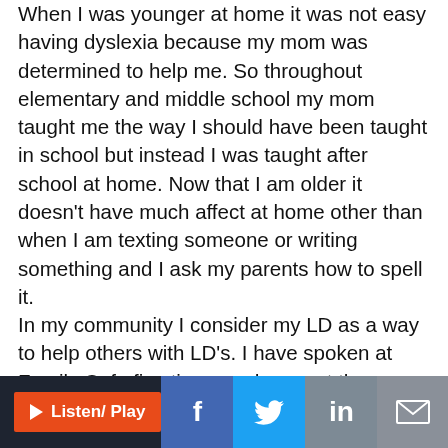When I was younger at home it was not easy having dyslexia because my mom was determined to help me. So throughout elementary and middle school my mom taught me the way I should have been taught in school but instead I was taught after school at home. Now that I am older it doesn't have much affect at home other than when I am texting someone or writing something and I ask my parents how to spell it.
In my community I consider my LD as a way to help others with LD's. I have spoken at Family Cafe five times and once at the SPARC conference. Right now I volunteer and am employed at Kiddy Up Ranch where we do equine therapy for kids with special needs and it is also where I have started a reading barn. I use the same program that my mom did with me as a kid to help other kids to learn to read.
Listen/ Play | f | Twitter | in | email